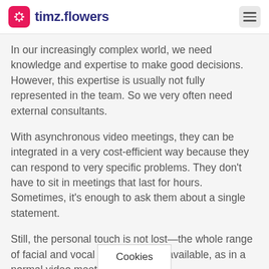timz.flowers
In our increasingly complex world, we need knowledge and expertise to make good decisions. However, this expertise is usually not fully represented in the team. So we very often need external consultants.
With asynchronous video meetings, they can be integrated in a very cost-efficient way because they can respond to very specific problems. They don't have to sit in meetings that last for hours. Sometimes, it's enough to ask them about a single statement.
Still, the personal touch is not lost—the whole range of facial and vocal expressions is available, as in a normal video meeting.
Cookies